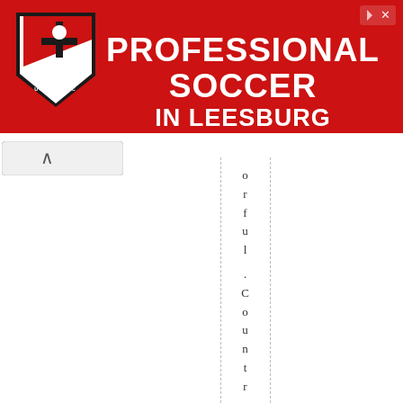[Figure (infographic): Red advertisement banner for Loudoun Soccer Club. Features the club shield logo on the left and bold white text reading 'PROFESSIONAL SOCCER IN LEESBURG' on a red background. An X close button is in the top right corner.]
[Figure (other): Navigation tab with an upward-pointing chevron (^) arrow indicating scroll up or collapse, shown as a light gray rounded tab.]
orful .Country .country